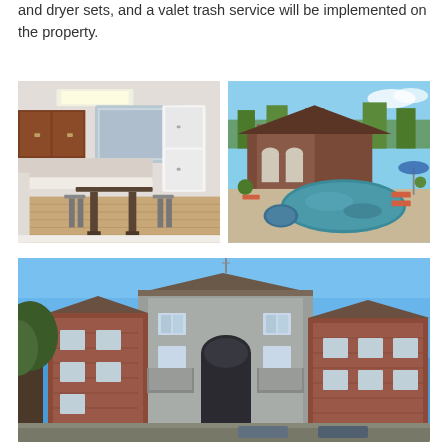and dryer sets, and a valet trash service will be implemented on the property.
[Figure (photo): Interior photo of an apartment kitchen and dining area with wood cabinets, white refrigerator, and a small dining table with stools on hardwood-style flooring]
[Figure (photo): Outdoor pool area with a freeform shaped swimming pool, lounge chairs, and a brick clubhouse building surrounded by trees]
[Figure (photo): Exterior view of a multi-story apartment complex with brick and gray siding, balconies, a decorative entrance arch, and a blue sky background]